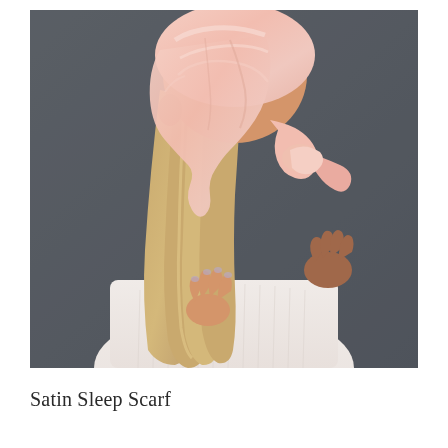[Figure (photo): A woman shown from behind and to the side, wearing a pink satin scarf tied around her head in a turban/headscarf style with a knot at the back. She has blonde hair hanging below the scarf and is wearing a light pink ribbed top. The background is dark grey. Her hands are raised near the back of her neck/scarf.]
Satin Sleep Scarf